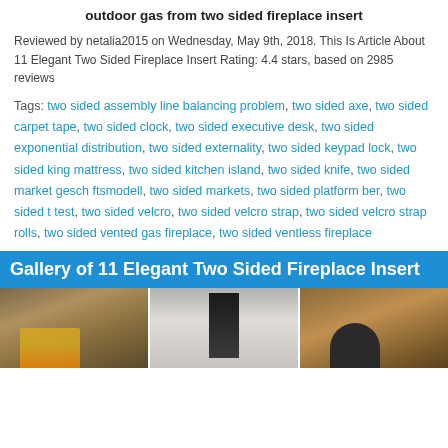outdoor gas from two sided fireplace insert
Reviewed by netalia2015 on Wednesday, May 9th, 2018. This Is Article About 11 Elegant Two Sided Fireplace Insert Rating: 4.4 stars, based on 2985 reviews
Tags: two sided assembly line balancing problem, two sided axe, two sided carpet tape, two sided clock, two sided executive desk, two sided exponential distribution, two sided externality, two sided keypad lock, two sided king mattress, two sided kitchen island, two sided knife, two sided market gesch ftsmodell, two sided markets, two sided platform ber, two sided t test, two sided velcro, two sided velcro strap, two sided velcro strap rolls, two sided vented gas fireplace, two sided ventless fireplace
Gallery of 11 Elegant Two Sided Fireplace Insert
[Figure (photo): Stone outdoor fireplace with fire burning inside]
[Figure (photo): Modern black fireplace insert on gray background]
[Figure (photo): Stone arch fireplace with dark interior]